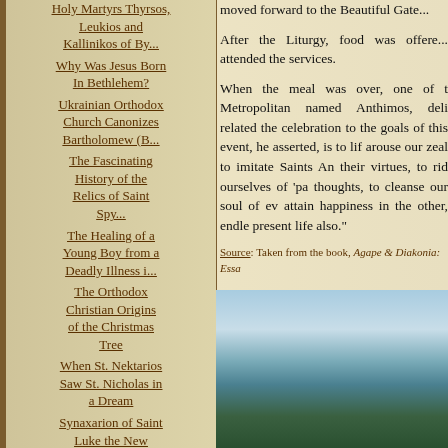Holy Martyrs Thyrsos, Leukios and Kallinikos of By...
Why Was Jesus Born In Bethlehem?
Ukrainian Orthodox Church Canonizes Bartholomew (B...
The Fascinating History of the Relics of Saint Spy...
The Healing of a Young Boy from a Deadly Illness i...
The Orthodox Christian Origins of the Christmas Tree
When St. Nektarios Saw St. Nicholas in a Dream
Synaxarion of Saint Luke the New
moved forward to the Beautiful Gate...
After the Liturgy, food was offered... attended the services.
When the meal was over, one of the Metropolitan named Anthimos, deliv... related the celebration to the goals of this event, he asserted, is to lift arouse our zeal to imitate Saints Ann... their virtues, to rid ourselves of 'pas thoughts, to cleanse our soul of eve... attain happiness in the other, endles... present life also."
Source: Taken from the book, Agape & Diakonia: Essa...
[Figure (photo): Coastal landscape with blue sea water and green rocky cliffs]